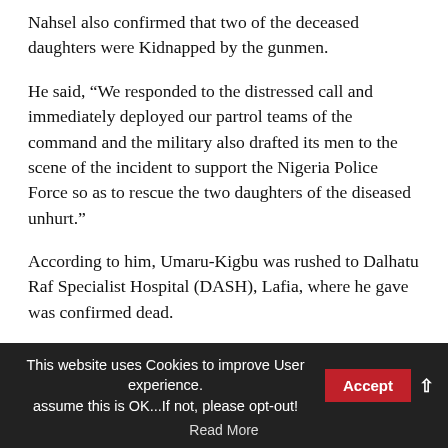Nahsel also confirmed that two of the deceased daughters were Kidnapped by the gunmen.
He said, “We responded to the distressed call and immediately deployed our partrol teams of the command and the military also drafted its men to the scene of the incident to support the Nigeria Police Force so as to rescue the two daughters of the diseased unhurt.”
According to him, Umaru-Kigbu was rushed to Dalhatu Raf Specialist Hospital (DASH), Lafia, where he gave was confirmed dead.
“The command has lunched a manhunt for the
This website uses Cookies to improve User experience. assume this is OK…If not, please opt-out!   Accept   Read More